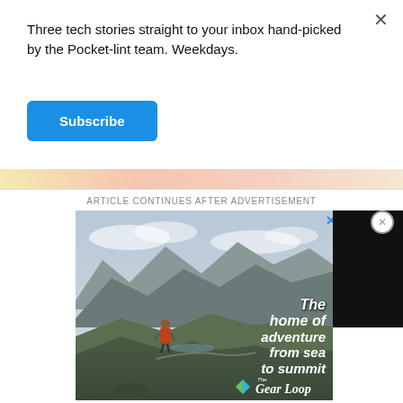Three tech stories straight to your inbox hand-picked by the Pocket-lint team. Weekdays.
Subscribe
ARTICLE CONTINUES AFTER ADVERTISEMENT
[Figure (photo): Advertisement image showing a hiker on a mountain with text 'The home of adventure from sea to summit' and The Gear Loop logo]